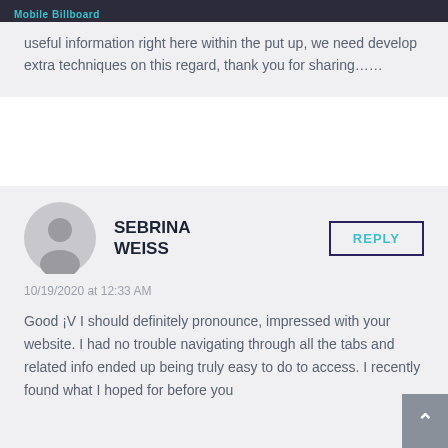Mobile Billboard
useful information right here within the put up, we need develop extra techniques on this regard, thank you for sharing……
SEBRINA WEISS
10/19/2020 at 12:33 AM
Good ¡V I should definitely pronounce, impressed with your website. I had no trouble navigating through all the tabs and related info ended up being truly easy to do to access. I recently found what I hoped for before you